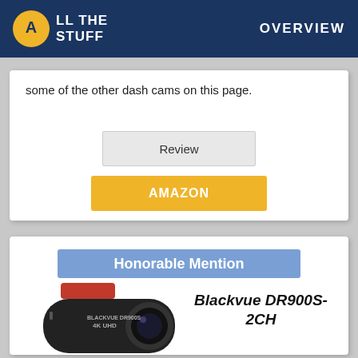ALL THE STUFF | OVERVIEW
some of the other dash cams on this page.
Review
AMAZON
Honorable Mention
Blackvue DR900S-2CH
[Figure (photo): Blackvue DR900S-2CH dash cam product photo showing a black cylindrical camera with red adhesive mount pad on top, lens visible on the front, labeled BLACKVUE DR900S and 4K UHD]